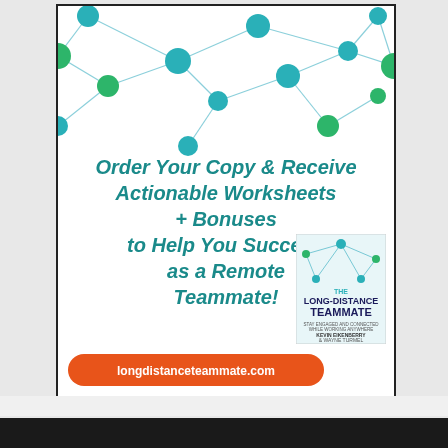[Figure (illustration): Advertisement for 'The Long-Distance Teammate' book showing a network of teal and green spheres connected by lines at the top, with the main promotional text, a book cover image, and an orange pill-shaped URL button.]
Order Your Copy & Receive Actionable Worksheets + Bonuses to Help You Succeed as a Remote Teammate!
longdistanceteammate.com